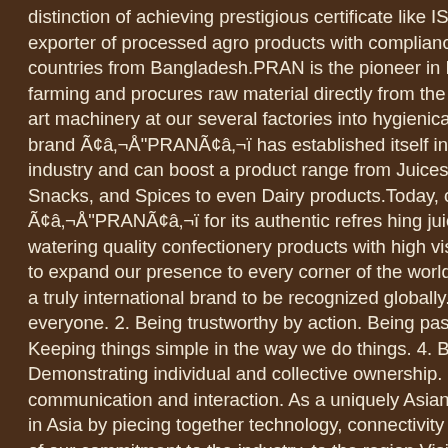distinction of achieving prestigious certificate like ISO 9001:2000, a exporter of processed agro products with compliance of HALAL & H countries from Bangladesh.PRAN is the pioneer in Bangladesh to be farming and procures raw material directly from the farmers and pro art machinery at our several factories into hygienically packed food brand Ã¢â‚¬Å"PRANÃ¢â‚¬ï has established itself in every category industry and can boost a product range from Juices, Carbonated Dr Snacks, and Spices to even Dairy products.Today, our consumers n Ã¢â‚¬Å"PRANÃ¢â‚¬ï for its authentic refres hing juice drinks produ watering quality confectionery products with high visual appeal and to expand our presence to every corner of the world and strive to m a truly international brand to be recognized globally. 2. 2 Mission: 1. everyone. 2. Being trustworthy by action. Being passionate and cre Keeping things simple in the way we do things. 4. Being ethical and Demonstrating individual and collective ownership. . Practicing an o communication and interaction. As a uniquely Asian company, our g in Asia by piecing together technology, connectivity and talent Ã¢â‚¬ of our commitment to the industry, to the region Vision: PRAN is the processor of fruits and vegetables in the country. Their contract gro fruits and vegetables which are p rocessed in our modern and hygie quality standards. They think the comparative advantage of their co agriculture.They believe the way to economic prosperity is through a